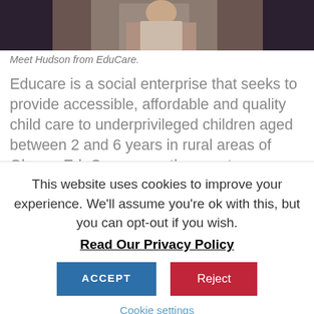[Figure (photo): Photo of Hudson from EduCare, cropped at top showing a person in a light blue/purple shirt]
Meet Hudson from EduCare.
Educare is a social enterprise that seeks to provide accessible, affordable and quality child care to underprivileged children aged between 2 and 6 years in rural areas of Ghana. EduCare currently operates a center in Berekuso, where it lays foundations for numeracy and literacy, in preparation for elementary school. In addition, they seek to develop the abilities for critical thinking to help the kids understand and
This website uses cookies to improve your experience. We'll assume you're ok with this, but you can opt-out if you wish.
Read Our Privacy Policy
ACCEPT
Reject
Cookie settings